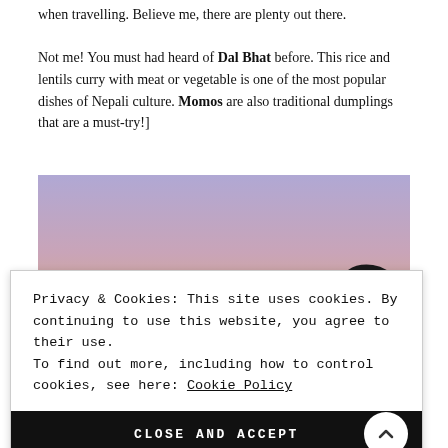when travelling. Believe me, there are plenty out there.

Not me! You must had heard of Dal Bhat before. This rice and lentils curry with meat or vegetable is one of the most popular dishes of Nepali culture. Momos are also traditional dumplings that are a must-try!]
[Figure (photo): Silhouette of a person raising their hand against a purple-pink gradient sunset sky, with another person's head visible on the right side.]
Privacy & Cookies: This site uses cookies. By continuing to use this website, you agree to their use.
To find out more, including how to control cookies, see here: Cookie Policy
CLOSE AND ACCEPT